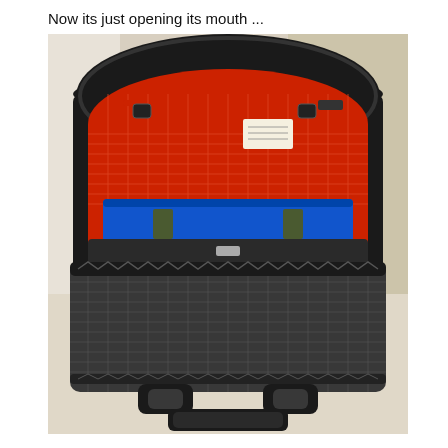Now its just opening its mouth ...
[Figure (photo): A dark gray checkered fabric bag/backpack with its zipper open, revealing a red mesh interior lining with a blue pocket visible inside. The bag is sitting on a light-colored floor against a corner wall. The lower portion shows the outer zipper pocket and carrying handle strap.]